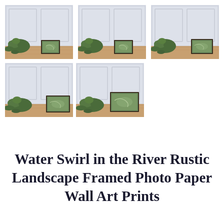[Figure (photo): Five room setting photos showing a framed landscape wall art print (Water Swirl in the River) leaning against a white paneled wall beside green ivy plants on a wooden floor. Top row has three images, bottom row has two images, all showing the same print in different sizes.]
Water Swirl in the River Rustic Landscape Framed Photo Paper Wall Art Prints